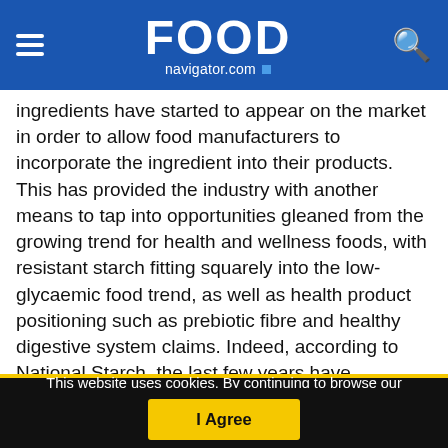FOOD navigator.com
ingredients have started to appear on the market in order to allow food manufacturers to incorporate the ingredient into their products. This has provided the industry with another means to tap into opportunities gleaned from the growing trend for health and wellness foods, with resistant starch fitting squarely into the low-glycaemic food trend, as well as health product positioning such as prebiotic fibre and healthy digestive system claims. Indeed, according to National Starch, the last few years have witnessed a "significant increase" in interest for RS in its home country. The firm markets its Hi-
This website uses cookies. By continuing to browse our website, you are agreeing to our use of cookies. You can learn more about cookies by visiting our privacy & cookies policy page.
I Agree